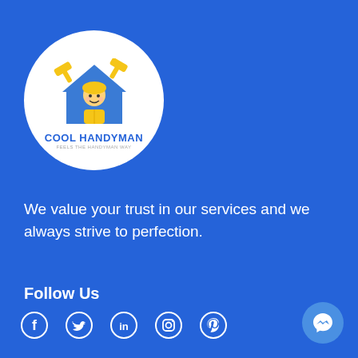[Figure (logo): Cool Handyman logo: circular white badge with cartoon handyman character inside a blue house shape with crossed hammers, text 'COOL HANDYMAN' in blue uppercase]
We value your trust in our services and we always strive to perfection.
Follow Us
[Figure (infographic): Social media icons: Facebook, Twitter, LinkedIn, Instagram, Pinterest]
[Figure (other): Facebook Messenger chat button in bottom right corner]